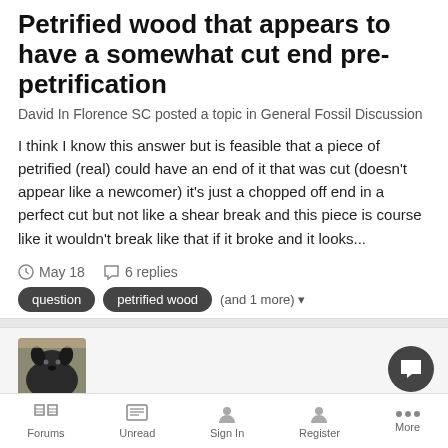Petrified wood that appears to have a somewhat cut end pre-petrification
David In Florence SC posted a topic in General Fossil Discussion
I think I know this answer but is feasible that a piece of petrified (real) could have an end of it that was cut (doesn't appear like a newcomer) it's just a chopped off end in a perfect cut but not like a shear break and this piece is course like it wouldn't break like that if it broke and it looks...
May 18   6 replies
question
petrified wood
(and 1 more)
[Figure (photo): Black dog avatar photo]
Any Good Fossil Hunting Sites Near San Antonio? (<30 Minutes Away)
RiseOfTheExtinct posted a topic in Texas
Forums   Unread   Sign In   Register   More